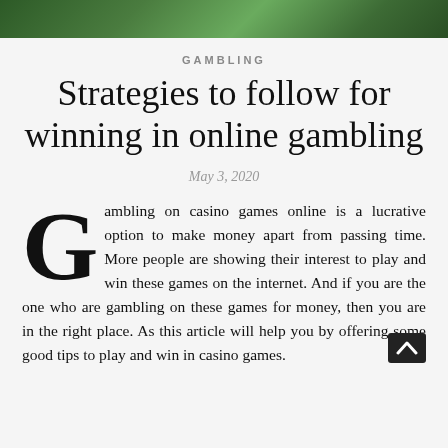[Figure (photo): Green gradient hero image at the top of the page]
GAMBLING
Strategies to follow for winning in online gambling
May 3, 2020
Gambling on casino games online is a lucrative option to make money apart from passing time. More people are showing their interest to play and win these games on the internet. And if you are the one who are gambling on these games for money, then you are in the right place. As this article will help you by offering some good tips to play and win in casino games.